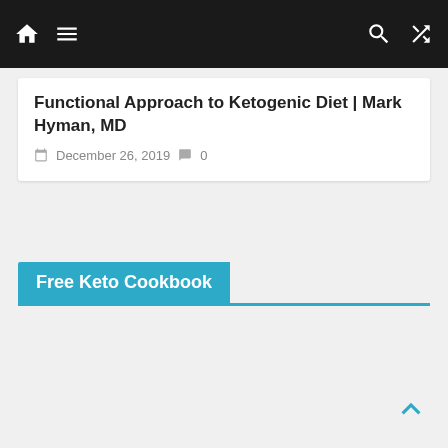Navigation bar with home, menu, search, and shuffle icons
Functional Approach to Ketogenic Diet | Mark Hyman, MD
December 26, 2019  0
Free Keto Cookbook